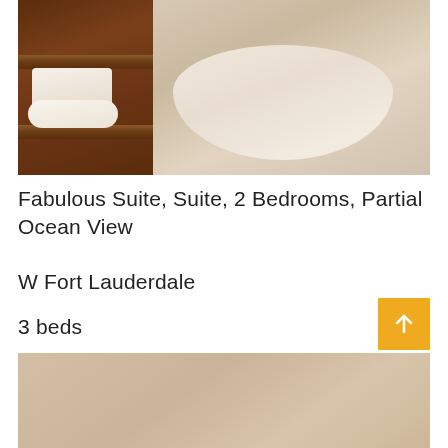[Figure (photo): Hotel bathroom photo showing a wooden towel rack with rolled white towels and a beige bath mat on tiled floor]
Fabulous Suite, Suite, 2 Bedrooms, Partial Ocean View
W Fort Lauderdale
3 beds
Starting At: $538
[Figure (photo): Partial bottom photo of hotel bathroom floor with beige/tan tiled surface]